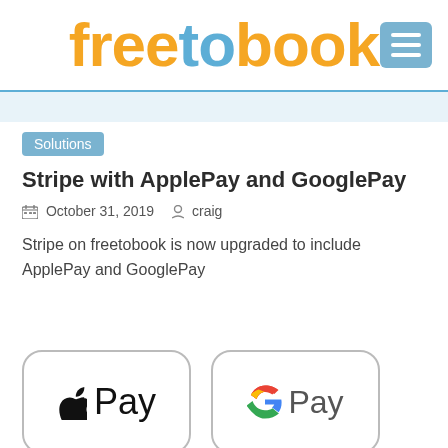freetobook
Solutions
Stripe with ApplePay and GooglePay
October 31, 2019   craig
Stripe on freetobook is now upgraded to include ApplePay and GooglePay
[Figure (logo): Apple Pay and Google Pay logos side by side, each in a rounded rectangle border]